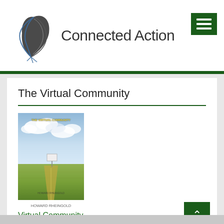[Figure (logo): Connected Action website logo with stylized bird/pen icon and site name text]
The Virtual Community
[Figure (photo): Book cover of 'The Virtual Community' showing sky, clouds, open landscape, road, and arched title text]
Virtual Community
Virtual Community